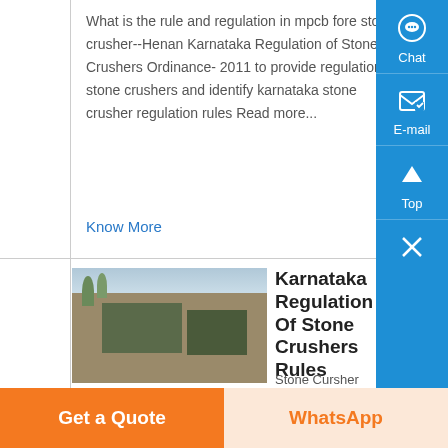What is the rule and regulation in mpcb fore stone crusher--Henan Karnataka Regulation of Stone Crushers Ordinance- 2011 to provide regulations of stone crushers and identify karnataka stone crusher regulation rules Read more...
Know More
[Figure (photo): Aerial or ground-level photograph of a stone crusher / construction site with machinery and cleared land]
Karnataka Regulation Of Stone Crushers Rules
Stone Cursher Stone Cursher Crusher Act (Eng)pdf Karnataka Ordinance No 2 Of Karnataka Regulation of Stone Crusher , KARNATAKA ACT NO 64 OF
Get a Quote
WhatsApp